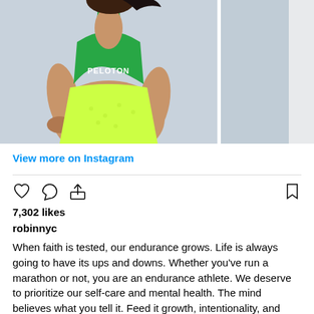[Figure (photo): A woman wearing a green Peloton sports bra and yellow-green shorts, posing with hands on hips against a light background. A partial second photo is visible to the right.]
View more on Instagram
7,302 likes
robinnyc
When faith is tested, our endurance grows. Life is always going to have its ups and downs. Whether you've run a marathon or not, you are an endurance athlete. We deserve to prioritize our self-care and mental health. The mind believes what you tell it. Feed it growth, intentionality, and belief. You've made it through so much to get here. Keep